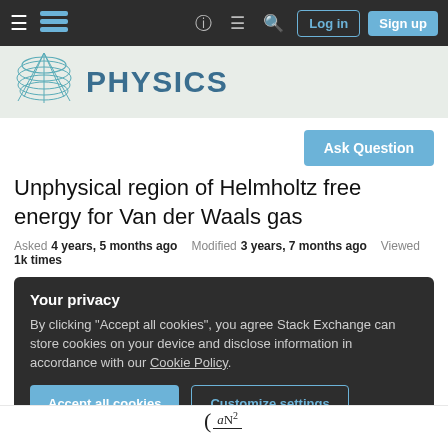Navigation bar: hamburger menu, Stack Exchange logo, help, chat, search icons, Log in and Sign up buttons
[Figure (logo): Physics Stack Exchange logo: wireframe cone/hat shape in teal with PHYSICS text in bold teal]
Unphysical region of Helmholtz free energy for Van der Waals gas
Asked 4 years, 5 months ago   Modified 3 years, 7 months ago   Viewed 1k times
Your privacy
By clicking "Accept all cookies", you agree Stack Exchange can store cookies on your device and disclose information in accordance with our Cookie Policy.
Accept all cookies   Customize settings